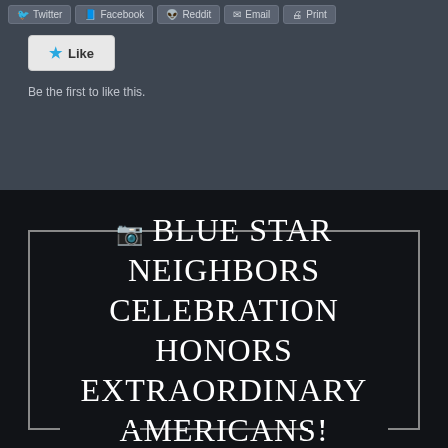[Figure (screenshot): Social media share buttons: Twitter, Facebook, Reddit, Email, Print on dark background]
[Figure (screenshot): Like button with star icon on grey background]
Be the first to like this.
📷 BLUE STAR NEIGHBORS CELEBRATION HONORS EXTRAORDINARY AMERICANS!